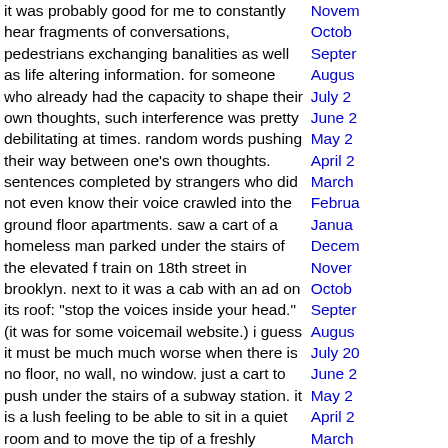it was probably good for me to constantly hear fragments of conversations, pedestrians exchanging banalities as well as life altering information. for someone who already had the capacity to shape their own thoughts, such interference was pretty debilitating at times. random words pushing their way between one's own thoughts. sentences completed by strangers who did not even know their voice crawled into the ground floor apartments. saw a cart of a homeless man parked under the stairs of the elevated f train on 18th street in brooklyn. next to it was a cab with an ad on its roof: "stop the voices inside your head." (it was for some voicemail website.) i guess it must be much much worse when there is no floor, no wall, no window. just a cart to push under the stairs of a subway station. it is a lush feeling to be able to sit in a quiet room and to move the tip of a freshly sharpened pencil over a pristine sheet of paper. such amazing luxury. so i better turn of this box now.
Witold Riedel | 07:50 PM
November 23, 2007
«October 2007 | Front | December 2007 »
November 23, 2007
simply sleepy again. no news really. many little fish in metal containers are now piled in the refrigerator. tonight will be a